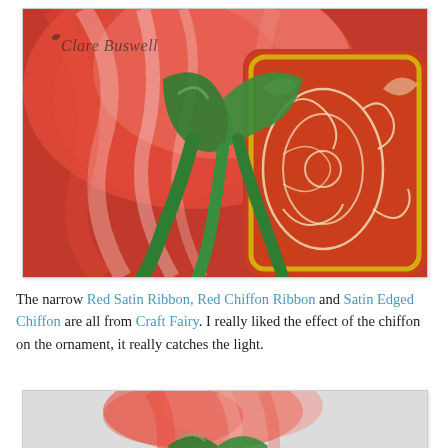[Figure (photo): Close-up photo of a Christmas ornament decorated with red and gold paisley pattern, tied with red chiffon ribbon and a green satin ribbon bow. Watermark reads 'Clare Buswell'.]
The narrow Red Satin Ribbon, Red Chiffon Ribbon and Satin Edged Chiffon are all from Craft Fairy. I really liked the effect of the chiffon on the ornament, it really catches the light.
[Figure (photo): Photo of a Christmas ornament with red and gold paisley pattern, topped with red chiffon ribbon and a green satin ribbon bow, against a light background.]